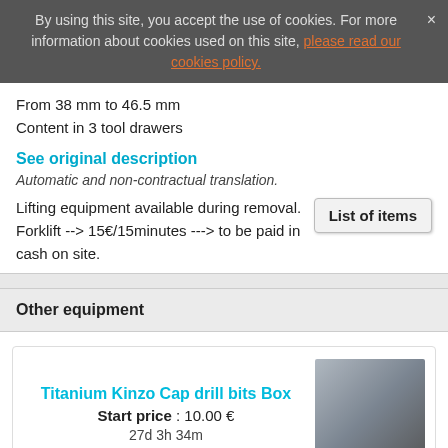By using this site, you accept the use of cookies. For more information about cookies used on this site, please read our cookies policy.
From 38 mm to 46.5 mm
Content in 3 tool drawers
See original description
Automatic and non-contractual translation.
Lifting equipment available during removal.
Forklift --> 15€/15minutes ---> to be paid in cash on site.
Other equipment
Titanium Kinzo Cap drill bits Box
Start price : 10.00 €
27d 3h 34m
[Figure (photo): Photo of Titanium Kinzo Cap drill bits Box product with Actelia watermark]